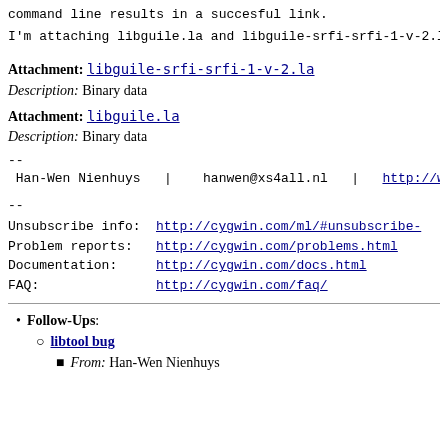command line results in a succesful link.
I'm attaching libguile.la and libguile-srfi-srfi-1-v-2.la
Attachment: libguile-srfi-srfi-1-v-2.la
Description: Binary data
Attachment: libguile.la
Description: Binary data
--
Han-Wen Nienhuys   |   hanwen@xs4all.nl   |   http://www...
--
Unsubscribe info:    http://cygwin.com/ml/#unsubscribe-
Problem reports:     http://cygwin.com/problems.html
Documentation:       http://cygwin.com/docs.html
FAQ:                 http://cygwin.com/faq/
Follow-Ups: libtool bug — From: Han-Wen Nienhuys